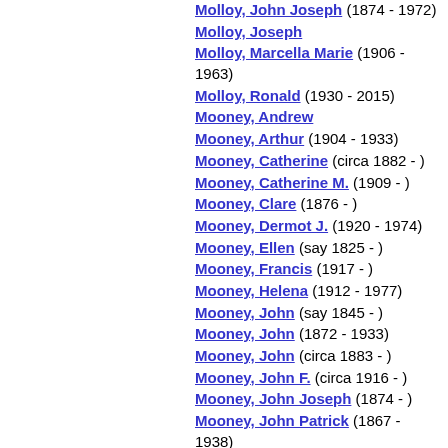Molloy, John Joseph (1874 - 1972)
Molloy, Joseph
Molloy, Marcella Marie (1906 - 1963)
Molloy, Ronald (1930 - 2015)
Mooney, Andrew
Mooney, Arthur (1904 - 1933)
Mooney, Catherine (circa 1882 - )
Mooney, Catherine M. (1909 - )
Mooney, Clare (1876 - )
Mooney, Dermot J. (1920 - 1974)
Mooney, Ellen (say 1825 - )
Mooney, Francis (1917 - )
Mooney, Helena (1912 - 1977)
Mooney, John (say 1845 - )
Mooney, John (1872 - 1933)
Mooney, John (circa 1883 - )
Mooney, John F. (circa 1916 - )
Mooney, John Joseph (1874 - )
Mooney, John Patrick (1867 - 1938)